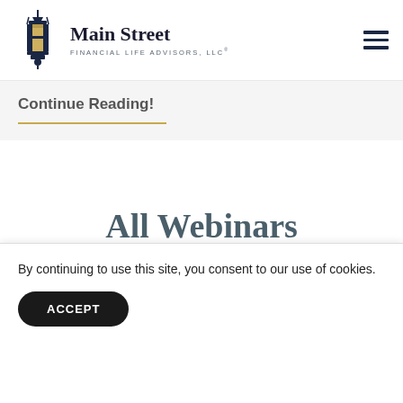[Figure (logo): Main Street Financial Life Advisors LLC logo with lantern icon and bold serif text]
Continue Reading!
All Webinars
By continuing to use this site, you consent to our use of cookies.
ACCEPT